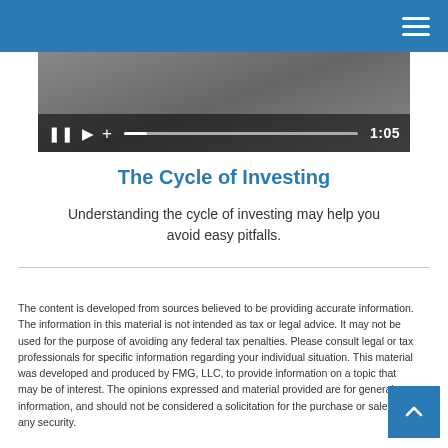[Figure (screenshot): Video player showing a paused/playing video with controls: pause button, play button, plus icon, progress bar, and time display reading 1:05]
The Cycle of Investing
Understanding the cycle of investing may help you avoid easy pitfalls.
The content is developed from sources believed to be providing accurate information. The information in this material is not intended as tax or legal advice. It may not be used for the purpose of avoiding any federal tax penalties. Please consult legal or tax professionals for specific information regarding your individual situation. This material was developed and produced by FMG, LLC, to provide information on a topic that may be of interest. The opinions expressed and material provided are for general information, and should not be considered a solicitation for the purchase or sale of any security.